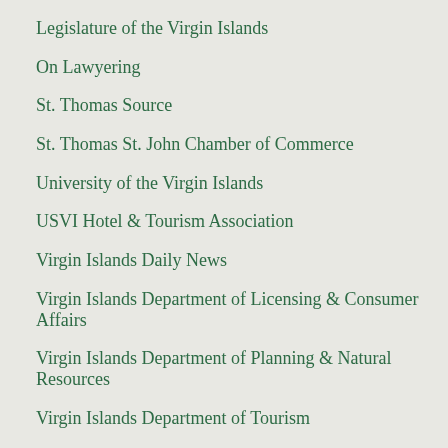Legislature of the Virgin Islands
On Lawyering
St. Thomas Source
St. Thomas St. John Chamber of Commerce
University of the Virgin Islands
USVI Hotel & Tourism Association
Virgin Islands Daily News
Virgin Islands Department of Licensing & Consumer Affairs
Virgin Islands Department of Planning & Natural Resources
Virgin Islands Department of Tourism
Virgin Islands Economic Development Authority
Virgin Islands Internal Revenue Bureau